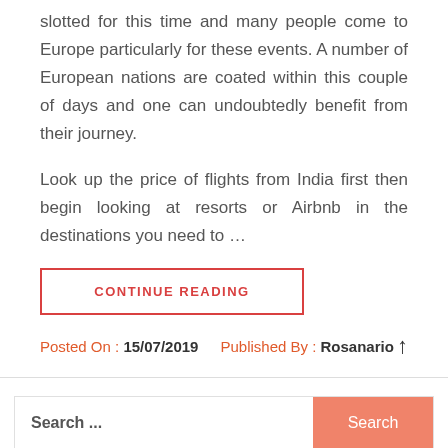slotted for this time and many people come to Europe particularly for these events. A number of European nations are coated within this couple of days and one can undoubtedly benefit from their journey.
Look up the price of flights from India first then begin looking at resorts or Airbnb in the destinations you need to …
CONTINUE READING
Posted On : 15/07/2019   Published By : Rosanario
Search ...